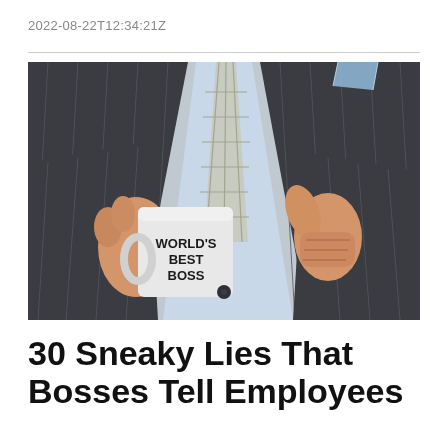2022-08-22T12:34:21Z
[Figure (photo): A man in a dark pinstripe suit and checked tie holding a white mug that reads 'WORLD'S BEST BOSS' with his left hand, and giving a thumbs-up with his right hand. A blue pocket square is visible in the breast pocket.]
30 Sneaky Lies That Bosses Tell Employees